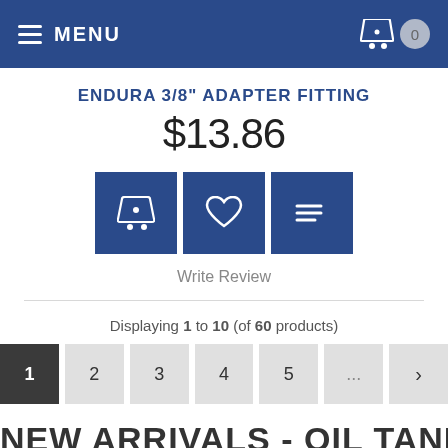MENU
ENDURA 3/8" ADAPTER FITTING
$13.86
[Figure (infographic): Three dark blue action buttons: add to cart (basket icon), wishlist (heart icon), and list/compare (lines icon)]
Write Review
Displaying 1 to 10 (of 60 products)
Pagination: 1 2 3 4 5 ... >
NEW ARRIVALS - OIL TANKS